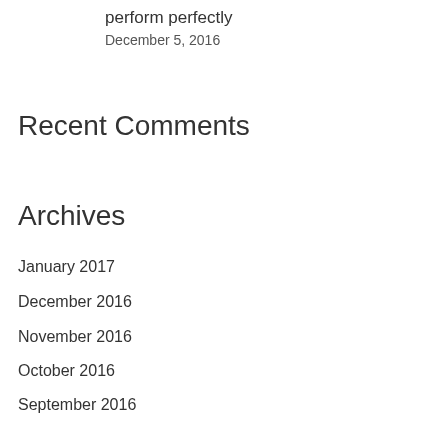perform perfectly
December 5, 2016
Recent Comments
Archives
January 2017
December 2016
November 2016
October 2016
September 2016
August 2016
March 2016
February 2016
January 2016